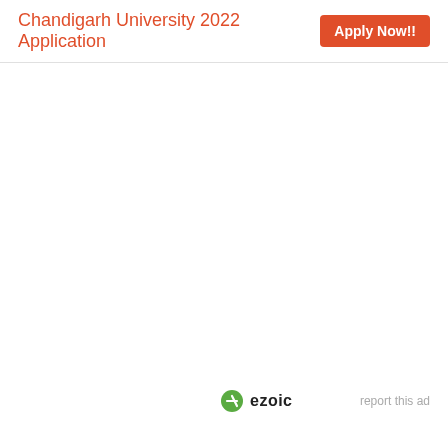Chandigarh University 2022 Application  Apply Now!!
[Figure (other): Large blank white advertisement area (ad placeholder)]
ezoic  report this ad